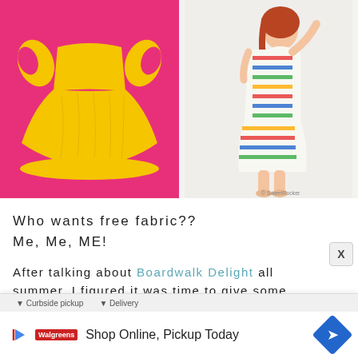[Figure (photo): Two children's dress photos side by side: left shows a yellow ruffled dress with pink trim on a pink background; right shows a young girl wearing a colorful printed dress, stretching one arm up.]
Who wants free fabric??
Me, Me, ME!
After talking about Boardwalk Delight all summer, I figured it was time to give some
[Figure (screenshot): Advertisement bar at bottom: shows curbside pickup / delivery options and a Walgreens ad saying Shop Online, Pickup Today with a blue diamond arrow icon. An X close button appears in the upper right.]